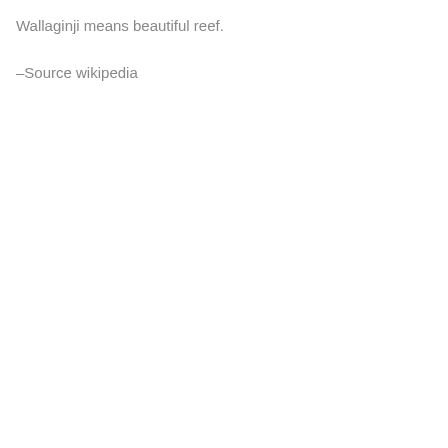Wallaginji means beautiful reef.
–Source wikipedia